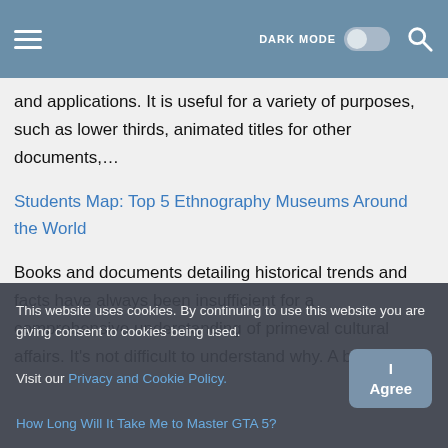DARK MODE [toggle] [search]
and applications. It is useful for a variety of purposes, such as lower thirds, animated titles for other documents,…
Students Map: Top 5 Ethnography Museums Around the World
Books and documents detailing historical trends and facts have always been insufficient for a comprehensive understanding of primeval cultural affairs. It's not difficult to understand why. A book can
This website uses cookies. By continuing to use this website you are giving consent to cookies being used. Visit our Privacy and Cookie Policy.
How Long Will It Take Me to Master GTA 5?